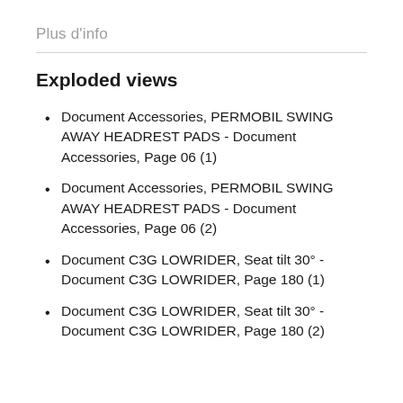Plus d'info
Exploded views
Document Accessories, PERMOBIL SWING AWAY HEADREST PADS - Document Accessories, Page 06 (1)
Document Accessories, PERMOBIL SWING AWAY HEADREST PADS - Document Accessories, Page 06 (2)
Document C3G LOWRIDER, Seat tilt 30° - Document C3G LOWRIDER, Page 180 (1)
Document C3G LOWRIDER, Seat tilt 30° - Document C3G LOWRIDER, Page 180 (2)